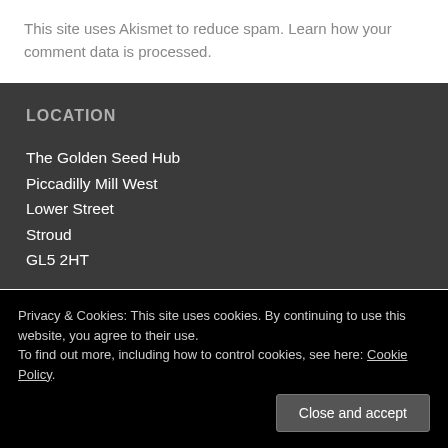This site uses Akismet to reduce spam. Learn how your comment data is processed.
LOCATION
The Golden Seed Hub
Piccadilly Mill West
Lower Street
Stroud
GL5 2HT
Privacy & Cookies: This site uses cookies. By continuing to use this website, you agree to their use.
To find out more, including how to control cookies, see here: Cookie Policy
Close and accept